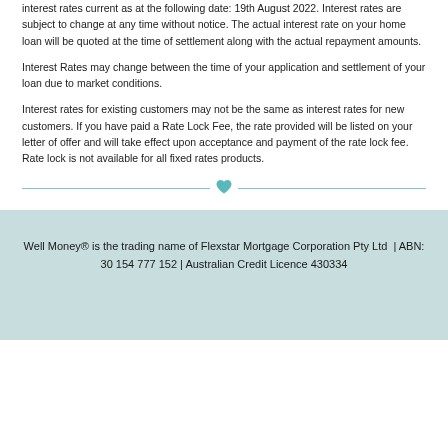interest rates current as at the following date: 19th August 2022. Interest rates are subject to change at any time without notice. The actual interest rate on your home loan will be quoted at the time of settlement along with the actual repayment amounts.
Interest Rates may change between the time of your application and settlement of your loan due to market conditions.
Interest rates for existing customers may not be the same as interest rates for new customers. If you have paid a Rate Lock Fee, the rate provided will be listed on your letter of offer and will take effect upon acceptance and payment of the rate lock fee.  Rate lock is not available for all fixed rates products.
Well Money® is the trading name of Flexstar Mortgage Corporation Pty Ltd  |  ABN: 30 154 777 152 | Australian Credit Licence 430334